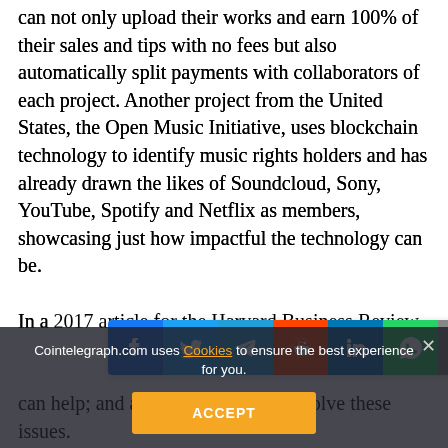can not only upload their works and earn 100% of their sales and tips with no fees but also automatically split payments with collaborators of each project. Another project from the United States, the Open Music Initiative, uses blockchain technology to identify music rights holders and has already drawn the likes of Soundcloud, Sony, YouTube, Spotify and Netflix as members, showcasing just how impactful the technology can be.
In a 2017 article for the Harvard Business Review, Imogen Heap — a Grammy Award-winning singer-songwriter, producer and audio engineer — recalls an incident where a video platform shut all of his doors to the Adobe Premiere for using a 30-second clip of one of Impogen Heap's songs. According to blockchain technology can help; and already is helping; to solve these issues.
[Figure (infographic): Social media share buttons bar: Facebook (blue), Twitter (light blue), Telegram (blue), Reddit (orange), LinkedIn (dark blue), WhatsApp (green), Copy (grey), Scroll-to-top (yellow/gold)]
Cointelegraph.com uses Cookies to ensure the best experience for you.
ACCEPT